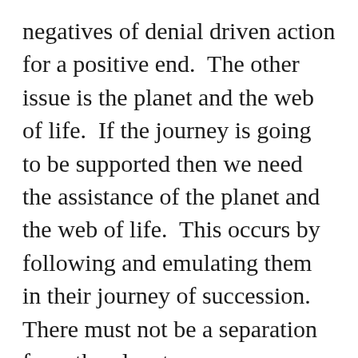negatives of denial driven action for a positive end.  The other issue is the planet and the web of life.  If the journey is going to be supported then we need the assistance of the planet and the web of life.  This occurs by following and emulating them in their journey of succession.  There must not be a separation from the planetary way or power is lost.  They are in succession and there is an ongoing extinction event.  They will support the journey by showing the way.  There is connectivity to a planetary process not the alternative of an engineer trying to force a change that is not possible.  Fighting a current is much different